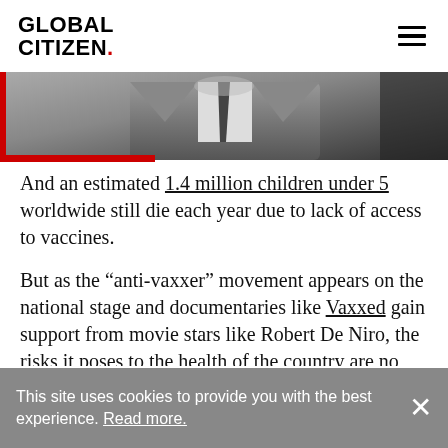GLOBAL CITIZEN.
[Figure (photo): Partial view of a person in a grey suit and dark tie, cropped at chest level, dark background]
And an estimated 1.4 million children under 5 worldwide still die each year due to lack of access to vaccines.
But as the “anti-vaxxer” movement appears on the national stage and documentaries like Vaxxed gain support from movie stars like Robert De Niro, the risks it poses to the health of the country are no longer hypothetical.
“The reduced number of children being
This site uses cookies to provide you with the best experience. Read more.